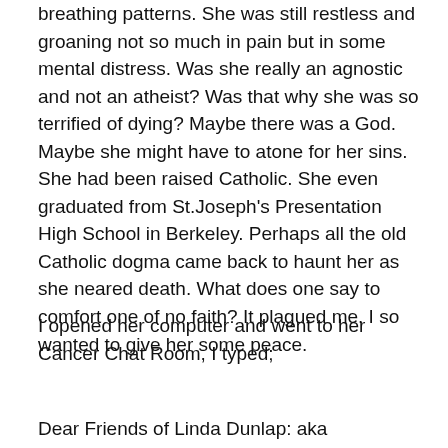breathing patterns. She was still restless and groaning not so much in pain but in some mental distress. Was she really an agnostic and not an atheist? Was that why she was so terrified of dying? Maybe there was a God. Maybe she might have to atone for her sins. She had been raised Catholic. She even graduated from St.Joseph's Presentation High School in Berkeley. Perhaps all the old Catholic dogma came back to haunt her as she neared death. What does one say to comfort one of no faith? It plagued me. I so wanted to give her some peace.
I opened her computer and went to her Cancer Chat Room, I typed;
Dear Friends of Linda Dunlap: aka lindamae1941.